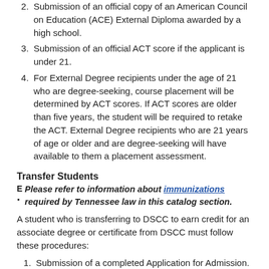2. Submission of an official copy of an American Council on Education (ACE) External Diploma awarded by a high school.
3. Submission of an official ACT score if the applicant is under 21.
4. For External Degree recipients under the age of 21 who are degree-seeking, course placement will be determined by ACT scores. If ACT scores are older than five years, the student will be required to retake the ACT. External Degree recipients who are 21 years of age or older and are degree-seeking will have available to them a placement assessment.
Transfer Students
Please refer to information about immunizations required by Tennessee law in this catalog section.
A student who is transferring to DSCC to earn credit for an associate degree or certificate from DSCC must follow these procedures:
1. Submission of a completed Application for Admission.
2. Submission of an official copy of a high school